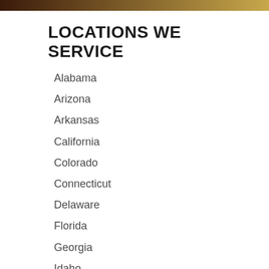LOCATIONS WE SERVICE
Alabama
Arizona
Arkansas
California
Colorado
Connecticut
Delaware
Florida
Georgia
Idaho